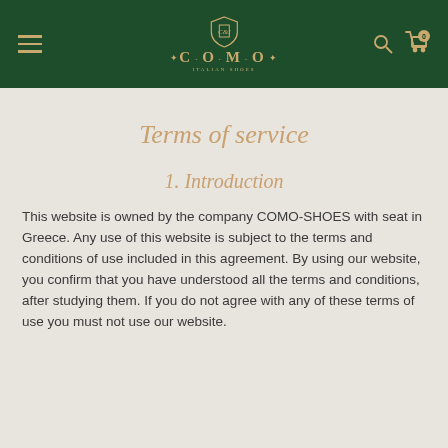COMO — Italian Shoes navigation header
Terms of service
1. Introduction
This website is owned by the company COMO-SHOES with seat in Greece. Any use of this website is subject to the terms and conditions of use included in this agreement. By using our website, you confirm that you have understood all the terms and conditions, after studying them. If you do not agree with any of these terms of use you must not use our website.